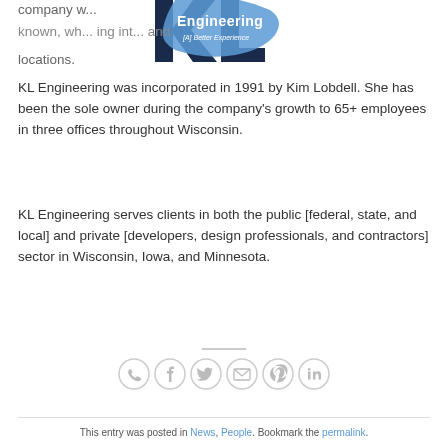[Figure (logo): KL Engineering logo with text '[A] Better Experience']
company w... well known, wh... ing int... and locations.
KL Engineering was incorporated in 1991 by Kim Lobdell. She has been the sole owner during the company's growth to 65+ employees in three offices throughout Wisconsin.
KL Engineering serves clients in both the public [federal, state, and local] and private [developers, design professionals, and contractors] sector in Wisconsin, Iowa, and Minnesota.
[Figure (infographic): Social sharing icons: WhatsApp, Facebook, Twitter, Email, Pinterest, LinkedIn]
This entry was posted in News, People. Bookmark the permalink.